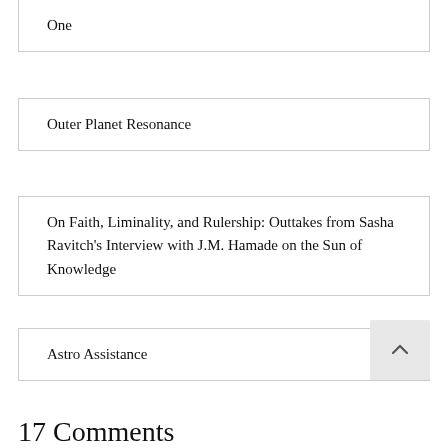One
Outer Planet Resonance
On Faith, Liminality, and Rulership: Outtakes from Sasha Ravitch's Interview with J.M. Hamade on the Sun of Knowledge
Astro Assistance
17 Comments